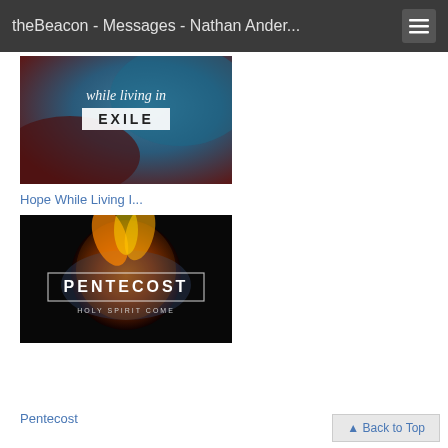theBeacon - Messages - Nathan Ander...
[Figure (photo): Book/series cover image with text 'while living in EXILE' on a dark blue-red texture background]
Hope While Living I...
[Figure (photo): PENTECOST series cover image with fiery globe and text 'PENTECOST HOLY SPIRIT COME' on dark background]
Pentecost
Back to Top